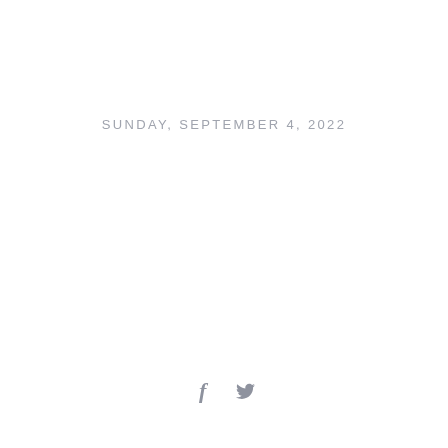SUNDAY, SEPTEMBER 4, 2022
[Figure (illustration): Social media icons: Facebook (f) and Twitter (bird) in light gray]